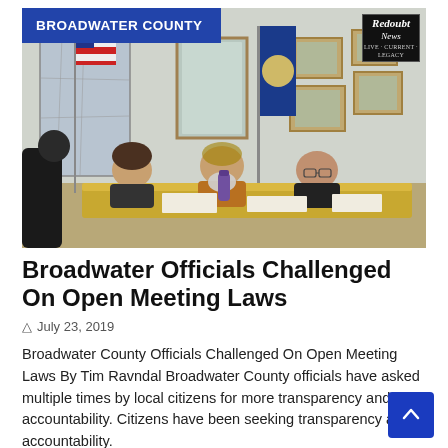[Figure (photo): County government meeting room with three officials seated at a wooden table, reviewing documents. An American flag and a state flag are visible in the background, along with framed photos on the wall and a large map. The Broadwater County label banner and Redoubt News badge are overlaid on the image.]
Broadwater Officials Challenged On Open Meeting Laws
July 23, 2019
Broadwater County Officials Challenged On Open Meeting Laws By Tim Ravndal Broadwater County officials have asked multiple times by local citizens for more transparency and accountability. Citizens have been seeking transparency and accountability.